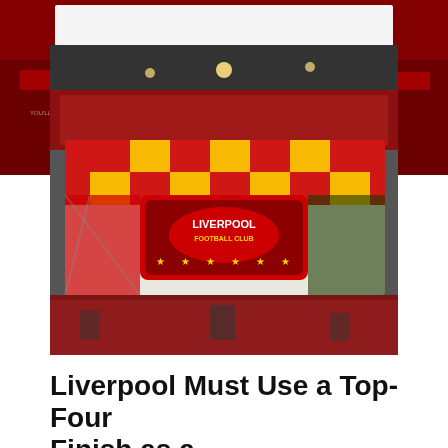[Figure (photo): Background image of Liverpool FC fans holding red scarves with 'You'll Never Walk Alone' text, forming a dark red/maroon banner backdrop behind the main photo]
[Figure (photo): Liverpool FC fans inside stadium holding up a massive Liverpool Football Club banner/tifo with the club crest, red and white checkered pattern, gold stars, and various club imagery. The stand is packed with fans in red.]
Liverpool Must Use a Top-Four Finish as a Springboard to S...